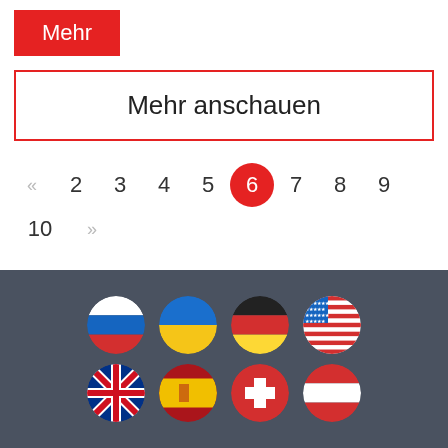Mehr
Mehr anschauen
« 2 3 4 5 6 7 8 9
10 »
[Figure (illustration): Country flag icons in circular shape: Russia, Ukraine, Germany, USA (top row); UK, Spain, Switzerland, Austria (bottom row)]